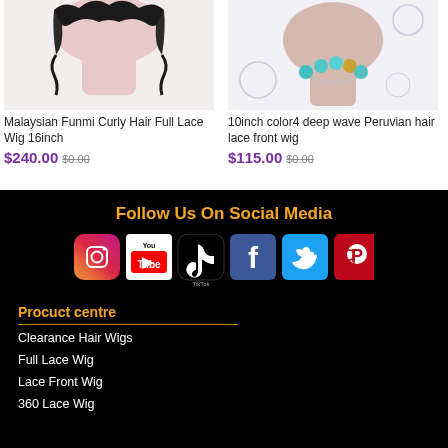[Figure (photo): Malaysian Funmi Curly Hair Full Lace Wig product photo on mannequin head]
Malaysian Funmi Curly Hair Full Lace Wig 16inch
$240.00 $0.00
[Figure (photo): 10inch color4 deep wave Peruvian hair lace front wig product photo on mannequin head with necklace]
10inch color4 deep wave Peruvian hair lace front wig
$115.00 $0.00
Follow Us On Social Media
[Figure (infographic): Social media icons: Instagram, YouTube, TikTok, Facebook, Twitter, Pinterest]
Procuct centre
Clearance Hair Wigs
Full Lace Wig
Lace Front Wig
360 Lace Wig